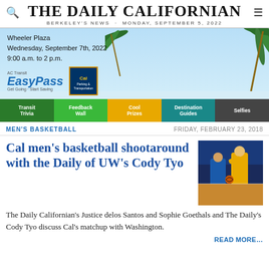THE DAILY CALIFORNIAN
BERKELEY'S NEWS · MONDAY, SEPTEMBER 5, 2022
[Figure (infographic): AC Transit EasyPass advertisement banner for Wheeler Plaza event, Wednesday September 7th 2022, 9:00 a.m. to 2 p.m. with navigation tabs: Transit Trivia, Feedback Wall, Cool Prizes, Destination Guides, Selfies]
MEN'S BASKETBALL
FRIDAY, FEBRUARY 23, 2018
Cal men's basketball shootaround with the Daily of UW's Cody Tyo
The Daily Californian's Justice delos Santos and Sophie Goethals and The Daily's Cody Tyo discuss Cal's matchup with Washington.
READ MORE…